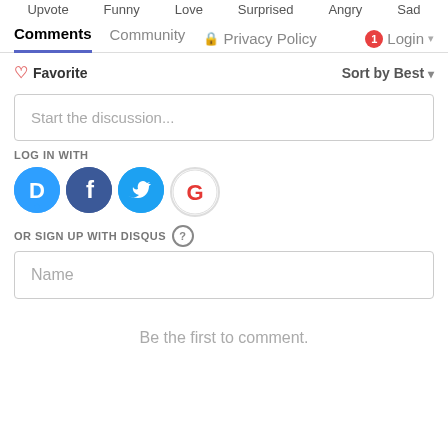Upvote  Funny  Love  Surprised  Angry  Sad
Comments  Community  Privacy Policy  Login
♡ Favorite
Sort by Best ▾
Start the discussion...
LOG IN WITH
[Figure (infographic): Social login icons: Disqus (blue circle with D), Facebook (dark blue circle with f), Twitter (light blue circle with bird), Google (white circle with G)]
OR SIGN UP WITH DISQUS ?
Name
Be the first to comment.